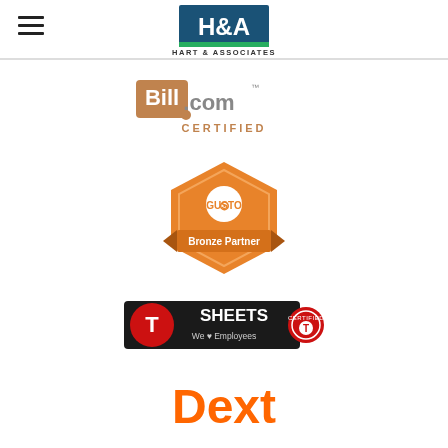[Figure (logo): H&A Hart & Associates logo with hamburger menu icon on left]
[Figure (logo): Bill.com Certified logo in orange/gold tones]
[Figure (logo): Gusto Bronze Partner badge in orange hexagon shape]
[Figure (logo): TSheets We Love Employees Certified Consultant logo in red and black]
[Figure (logo): Dext logo in bold orange text]